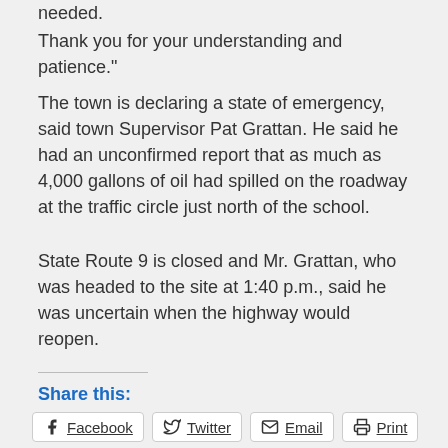needed.
Thank you for your understanding and patience."
The town is declaring a state of emergency, said town Supervisor Pat Grattan. He said he had an unconfirmed report that as much as 4,000 gallons of oil had spilled on the roadway at the traffic circle just north of the school.
State Route 9 is closed and Mr. Grattan, who was headed to the site at 1:40 p.m., said he was uncertain when the highway would reopen.
Share this:
Posted in News  permalink